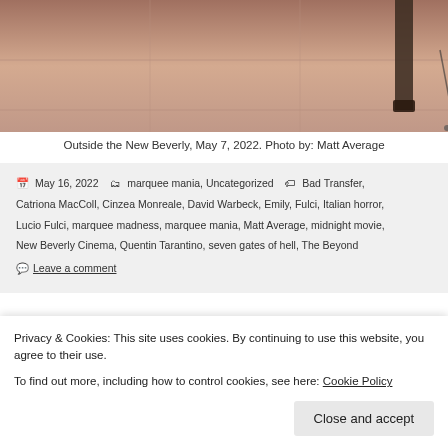[Figure (photo): Partial photo showing someone's legs/feet on tiled floor outside New Beverly Cinema]
Outside the New Beverly, May 7, 2022. Photo by: Matt Average
May 16, 2022  marquee mania, Uncategorized  Bad Transfer, Catriona MacColl, Cinzea Monreale, David Warbeck, Emily, Fulci, Italian horror, Lucio Fulci, marquee madness, marquee mania, Matt Average, midnight movie, New Beverly Cinema, Quentin Tarantino, seven gates of hell, The Beyond
Leave a comment
THE HIDDEN (1987)
float under the radar. Directed by Jack Sholder, of Nightmare on
Privacy & Cookies: This site uses cookies. By continuing to use this website, you agree to their use. To find out more, including how to control cookies, see here: Cookie Policy